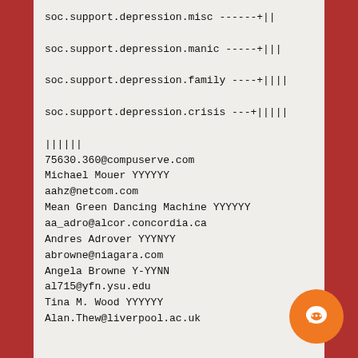soc.support.depression.misc ------+||

soc.support.depression.manic -----+|||

soc.support.depression.family ----+||||

soc.support.depression.crisis ---+|||||

||||||
75630.360@compuserve.com
Michael Mouer YYYYYY
aahz@netcom.com
Mean Green Dancing Machine YYYYYY
aa_adro@alcor.concordia.ca
Andres Adrover YYYNYY
abrowne@niagara.com
Angela Browne Y-YYNN
al715@yfn.ysu.edu
Tina M. Wood YYYYYY
Alan.Thew@liverpool.ac.uk